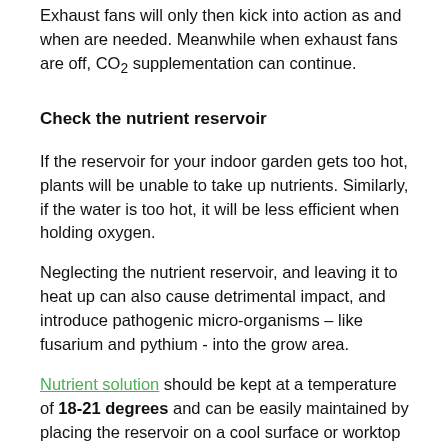Exhaust fans will only then kick into action as and when are needed. Meanwhile when exhaust fans are off, CO2 supplementation can continue.
Check the nutrient reservoir
If the reservoir for your indoor garden gets too hot, plants will be unable to take up nutrients. Similarly, if the water is too hot, it will be less efficient when holding oxygen.
Neglecting the nutrient reservoir, and leaving it to heat up can also cause detrimental impact, and introduce pathogenic micro-organisms – like fusarium and pythium - into the grow area.
Nutrient solution should be kept at a temperature of 18-21 degrees and can be easily maintained by placing the reservoir on a cool surface or worktop like